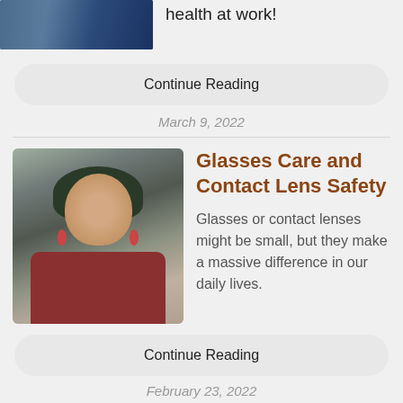[Figure (photo): Cropped photo of a person or scene with blue tones, partially visible at top]
health at work!
Continue Reading
March 9, 2022
[Figure (photo): Young woman with green-dyed hair, red earrings, and a red sweater, smiling outdoors]
Glasses Care and Contact Lens Safety
Glasses or contact lenses might be small, but they make a massive difference in our daily lives.
Continue Reading
February 23, 2022